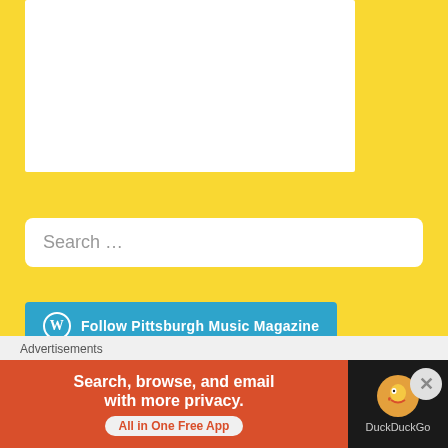[Figure (screenshot): White rectangle representing image or content area on yellow background]
Search …
[Figure (other): Follow Pittsburgh Music Magazine button with WordPress icon on teal background]
FOLLOW US ON FACEBOOK
Advertisements
[Figure (other): DuckDuckGo advertisement banner: Search, browse, and email with more privacy. All in One Free App]